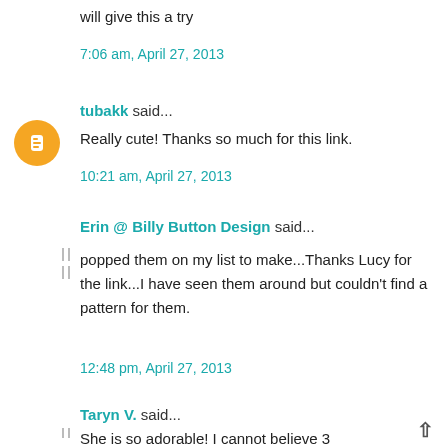will give this a try
7:06 am, April 27, 2013
tubakk said...
Really cute! Thanks so much for this link.
10:21 am, April 27, 2013
Erin @ Billy Button Design said...
popped them on my list to make...Thanks Lucy for the link...I have seen them around but couldn't find a pattern for them.
12:48 pm, April 27, 2013
Taryn V. said...
She is so adorable! I cannot believe 3